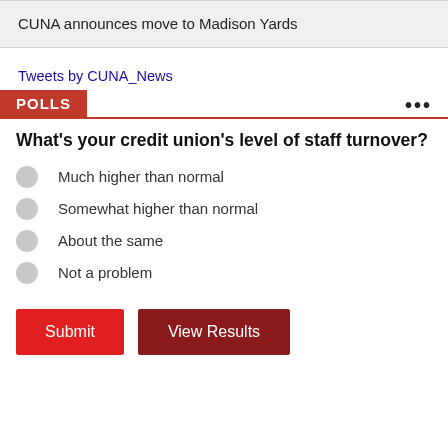CUNA announces move to Madison Yards
Tweets by CUNA_News
POLLS
What's your credit union's level of staff turnover?
Much higher than normal
Somewhat higher than normal
About the same
Not a problem
Submit | View Results